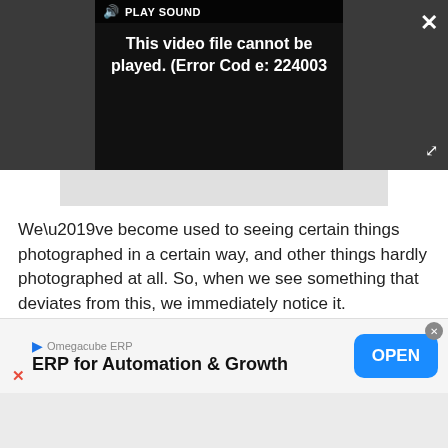[Figure (screenshot): Video player showing error message: 'This video file cannot be played. (Error Code: 224003)' with PLAY SOUND control bar, close button (X), and expand button]
We’ve become used to seeing certain things photographed in a certain way, and other things hardly photographed at all. So, when we see something that deviates from this, we immediately notice it.
Cutlery, kitchen utensils, clothes pegs, things you
[Figure (screenshot): Advertisement banner for Omegacube ERP: 'ERP for Automation & Growth' with OPEN button]